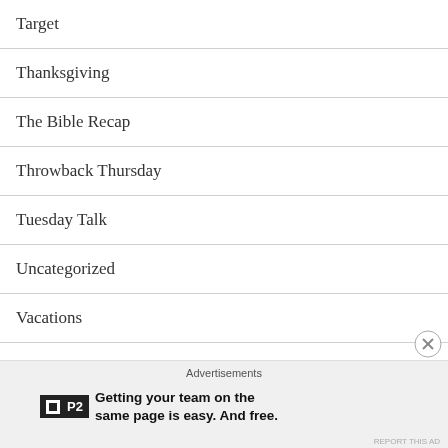Target
Thanksgiving
The Bible Recap
Throwback Thursday
Tuesday Talk
Uncategorized
Vacations
Virtual Bible Study
Weekend Recap
What's Up Wednesday
Advertisements
Getting your team on the same page is easy. And free.